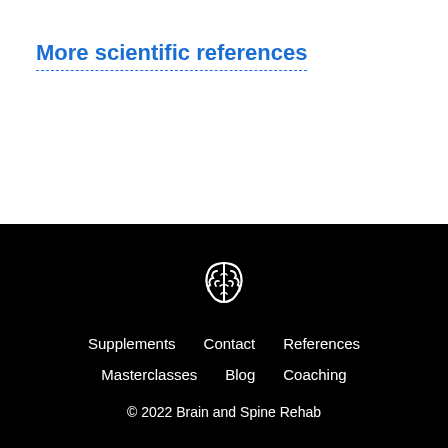More scientific references
[Figure (logo): Brain and Spine Rehab logo — stylized white brain icon outline on black background]
Supplements   Contact   References
Masterclasses   Blog   Coaching
© 2022 Brain and Spine Rehab